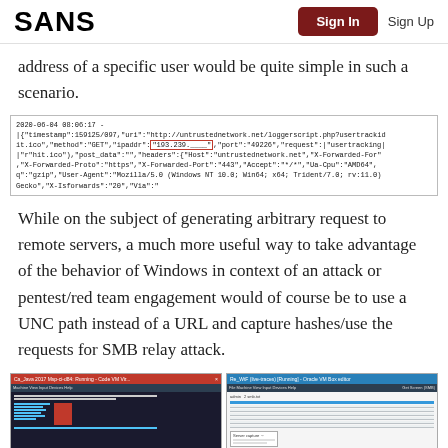SANS | Sign In | Sign Up
address of a specific user would be quite simple in such a scenario.
[Figure (screenshot): Code block showing a terminal/log output with JSON-like data including timestamp, uri to untrustednetwork.net/loggerscript.php, method GET, ipaddr field highlighted in red box showing 193.239.x.x, port 49226, headers including Host, X-Forwarded-Proto https, X-Forwarded-Port 443, Accept, Ua-Cpu AMD64, Accept-Encoding gzip, User-Agent Mozilla/5.0 Windows NT 10.0 Win64 x64 Trident/7.0, and other fields.]
While on the subject of generating arbitrary request to remote servers, a much more useful way to take advantage of the behavior of Windows in context of an attack or pentest/red team engagement would of course be to use a UNC path instead of a URL and capture hashes/use the requests for SMB relay attack.
[Figure (screenshot): Two side-by-side screenshots: left shows a terminal/Metasploit-style console with dark background and red highlighted box, right shows a Windows network capture tool with table of captured data rows.]